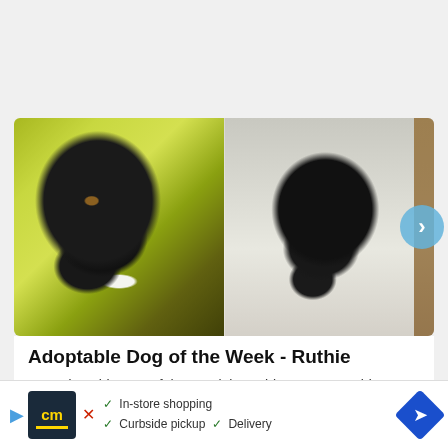[Figure (photo): Two photos side by side of black dogs. Left photo: a black dog with white chest markings lying on green grass, looking up at camera. Right photo: a black dog with white chest markings sitting indoors in front of a door, looking at camera.]
Adoptable Dog of the Week - Ruthie
Our Adoptable Dog of the Week is Ruthie, a 2 years old Labra... New Jersey...
[Figure (other): Advertisement banner with cm logo, showing In-store shopping, Curbside pickup, and Delivery options with a blue navigation arrow icon.]